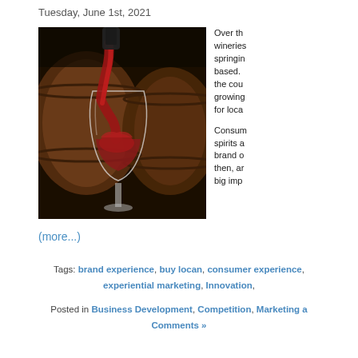Tuesday, June 1st, 2021
[Figure (photo): A bottle of red wine being poured into a large wine glass, with wooden barrels in the background in a warm, moody setting.]
Over th... wineries... springin... based. ... the cou... growing... for loca...
Consum... spirits a... brand o... then, an... big imp...
(more...)
Tags: brand experience, buy locan, consumer experience, experiential marketing, Innovation,
Posted in Business Development, Competition, Marketing a... Comments »